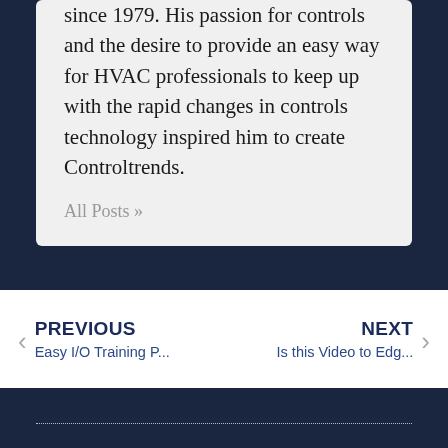since 1979. His passion for controls and the desire to provide an easy way for HVAC professionals to keep up with the rapid changes in controls technology inspired him to create Controltrends.
All Posts »
PREVIOUS
Easy I/O Training P...
NEXT
Is this Video to Edg...